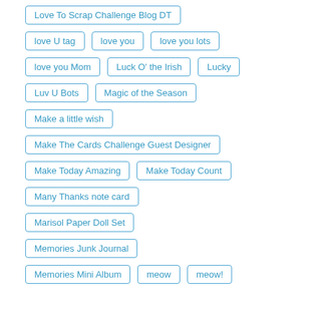Love To Scrap Challenge Blog DT
love U tag
love you
love you lots
love you Mom
Luck O' the Irish
Lucky
Luv U Bots
Magic of the Season
Make a little wish
Make The Cards Challenge Guest Designer
Make Today Amazing
Make Today Count
Many Thanks note card
Marisol Paper Doll Set
Memories Junk Journal
Memories Mini Album
meow
meow!